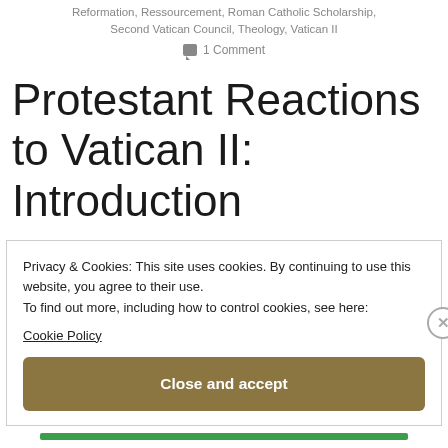Reformation, Ressourcement, Roman Catholic Scholarship, Second Vatican Council, Theology, Vatican II
1 Comment
Protestant Reactions to Vatican II: Introduction
Privacy & Cookies: This site uses cookies. By continuing to use this website, you agree to their use.
To find out more, including how to control cookies, see here: Cookie Policy
Close and accept